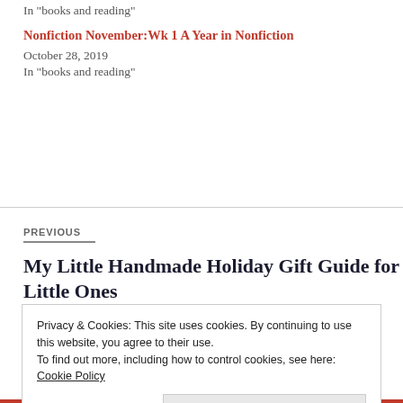In "books and reading"
Nonfiction November:Wk 1 A Year in Nonfiction
October 28, 2019
In "books and reading"
PREVIOUS
My Little Handmade Holiday Gift Guide for Little Ones
Privacy & Cookies: This site uses cookies. By continuing to use this website, you agree to their use.
To find out more, including how to control cookies, see here: Cookie Policy
Close and accept